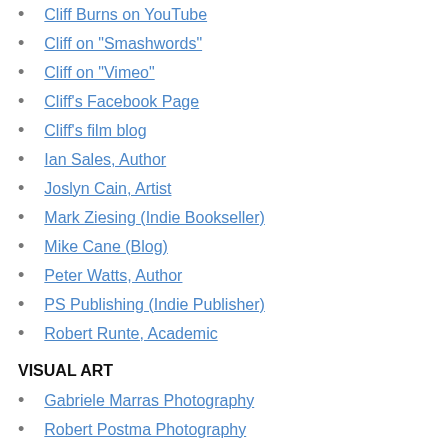Cliff Burns on YouTube
Cliff on "Smashwords"
Cliff on "Vimeo"
Cliff's Facebook Page
Cliff's film blog
Ian Sales, Author
Joslyn Cain, Artist
Mark Ziesing (Indie Bookseller)
Mike Cane (Blog)
Peter Watts, Author
PS Publishing (Indie Publisher)
Robert Runte, Academic
VISUAL ART
Gabriele Marras Photography
Robert Postma Photography